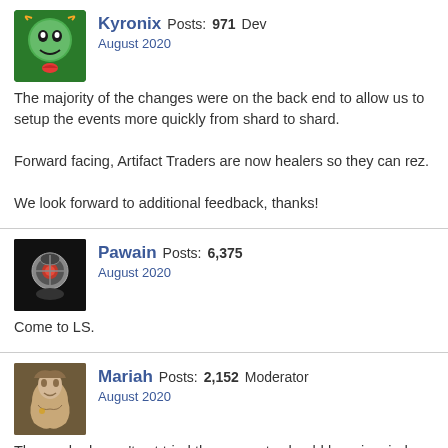Kyronix Posts: 971 Dev
August 2020
The majority of the changes were on the back end to allow us to setup the events more quickly from shard to shard.
Forward facing, Artifact Traders are now healers so they can rez.
We look forward to additional feedback, thanks!
Pawain Posts: 6,375
August 2020
Come to LS.
Mariah Posts: 2,152 Moderator
August 2020
Those who haven't yet tried these events should bear in mind this item in the publish notes:
Dynamic Treasures creatures have a chance to spawn as Paragon.